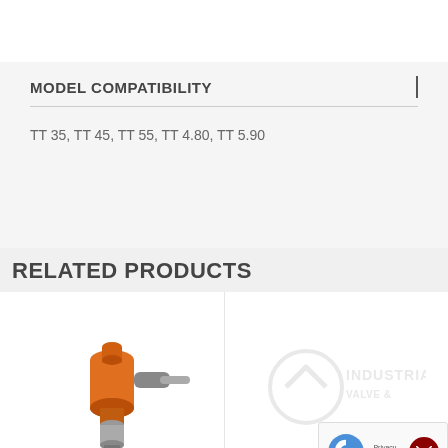MODEL COMPATIBILITY
TT 35, TT 45, TT 55, TT 4.80, TT 5.90
RELATED PRODUCTS
[Figure (photo): Orange industrial valve or coupling component with cylindrical metal fitting, angled connector]
[Figure (logo): Industrial valve/part watermark logo with company name 'INDUSTRIAL' text overlay]